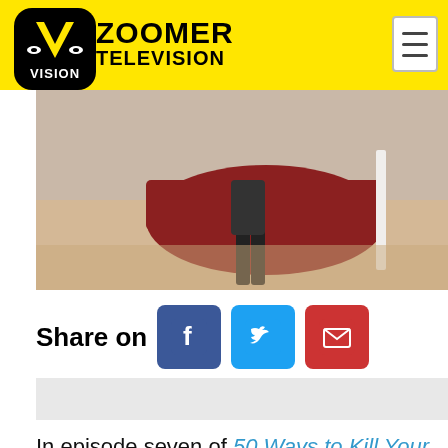ZOOMER TELEVISION
[Figure (photo): Person standing on beach near surfboard and boat]
Share on
[Figure (infographic): Social share buttons: Facebook, Twitter, Email]
In episode seven of 50 Ways to Kill Your Mum (or Dad), Academy Award nominated actor Eric Roberts and his stepson, musician Keaton Simons are venturing to Hawaii for a week-long thrill ride to strengthen their relationship. Eric is also the focus of...